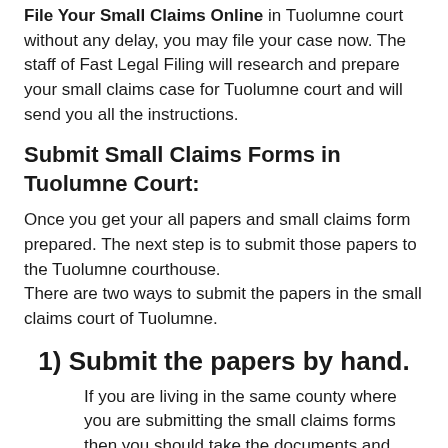File Your Small Claims Online in Tuolumne court without any delay, you may file your case now. The staff of Fast Legal Filing will research and prepare your small claims case for Tuolumne court and will send you all the instructions.
Submit Small Claims Forms in Tuolumne Court:
Once you get your all papers and small claims form prepared. The next step is to submit those papers to the Tuolumne courthouse.
There are two ways to submit the papers in the small claims court of Tuolumne.
1) Submit the papers by hand.
If you are living in the same county where you are submitting the small claims forms then you should take the documents and submit them by hand. It is the fastest way to get the trial date. The